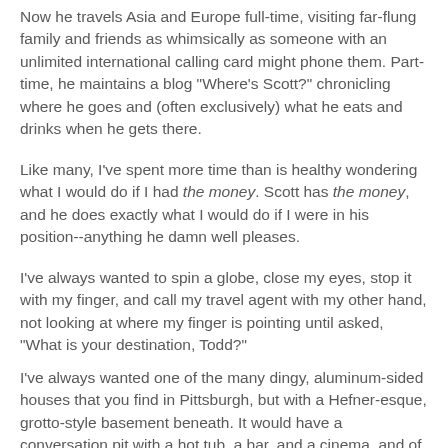Now he travels Asia and Europe full-time, visiting far-flung family and friends as whimsically as someone with an unlimited international calling card might phone them. Part-time, he maintains a blog "Where's Scott?" chronicling where he goes and (often exclusively) what he eats and drinks when he gets there.
Like many, I've spent more time than is healthy wondering what I would do if I had the money. Scott has the money, and he does exactly what I would do if I were in his position--anything he damn well pleases.
I've always wanted to spin a globe, close my eyes, stop it with my finger, and call my travel agent with my other hand, not looking at where my finger is pointing until asked, "What is your destination, Todd?"
I've always wanted one of the many dingy, aluminum-sided houses that you find in Pittsburgh, but with a Hefner-esque, grotto-style basement beneath. It would have a conversation pit with a hot tub, a bar, and a cinema, and of course a bar...